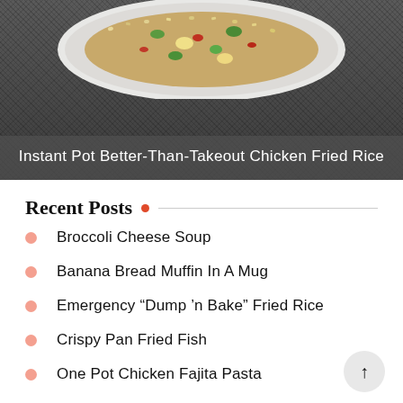[Figure (photo): Food photo of a bowl of chicken fried rice with vegetables, with a dark textured background. A white bowl is partially visible at top.]
Instant Pot Better-Than-Takeout Chicken Fried Rice
Recent Posts
Broccoli Cheese Soup
Banana Bread Muffin In A Mug
Emergency “Dump ’n Bake” Fried Rice
Crispy Pan Fried Fish
One Pot Chicken Fajita Pasta